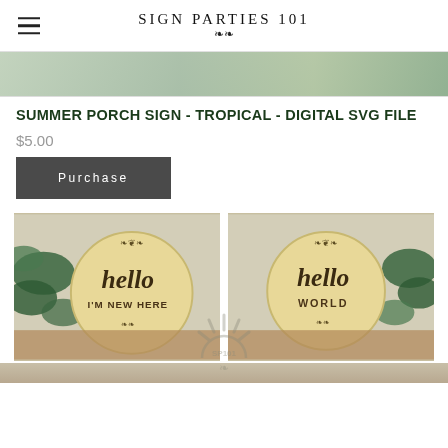SIGN PARTIES 101
[Figure (photo): Partial product photo at top of page, showing colorful background]
Summer Porch Sign - Tropical - Digital SVG File
$5.00
Purchase
[Figure (photo): Two round wooden signs reading 'hello I'm new here' and 'hello world' with greenery background and watermark logo]
[Figure (photo): Bottom partial photo of additional product]